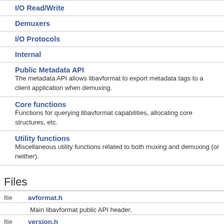I/O Read/Write
Demuxers
I/O Protocols
Internal
Public Metadata API
The metadata API allows libavformat to export metadata tags to a client application when demuxing.
Core functions
Functions for querying libavformat capabilities, allocating core structures, etc.
Utility functions
Miscellaneous utility functions related to both muxing and demuxing (or neither).
Files
|  | file | description |
| --- | --- | --- |
| file | avformat.h | Main libavformat public API header. |
| file | version.h |  |